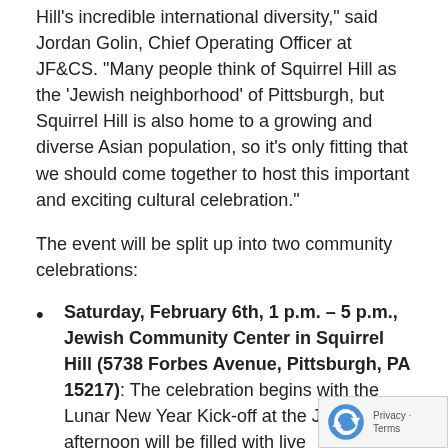Hill's incredible international diversity," said Jordan Golin, Chief Operating Officer at JF&CS. "Many people think of Squirrel Hill as the 'Jewish neighborhood' of Pittsburgh, but Squirrel Hill is also home to a growing and diverse Asian population, so it's only fitting that we should come together to host this important and exciting cultural celebration."
The event will be split up into two community celebrations:
Saturday, February 6th, 1 p.m. – 5 p.m., Jewish Community Center in Squirrel Hill (5738 Forbes Avenue, Pittsburgh, PA 15217): The celebration begins with the Lunar New Year Kick-off at the JCC. The afternoon will be filled with live performances by Pittsburgh Taiko Drumming, the Organization of Chinese Americans' Cultural Youth Ensemble, Silk Elephant Thai Dragon martial arts, dance, music, the crowd-favor Steel Dragons acrobatic lion dancers and Earlier in the day, Steel Dragon lion performers